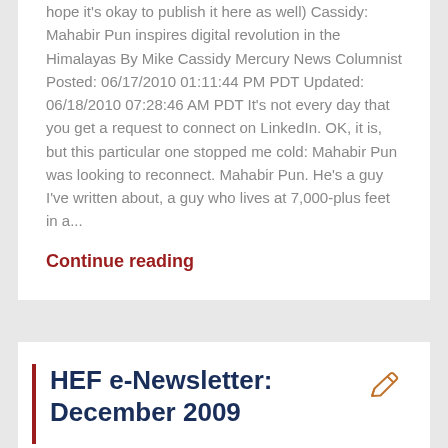hope it's okay to publish it here as well) Cassidy: Mahabir Pun inspires digital revolution in the Himalayas By Mike Cassidy Mercury News Columnist Posted: 06/17/2010 01:11:44 PM PDT Updated: 06/18/2010 07:28:46 AM PDT It's not every day that you get a request to connect on LinkedIn. OK, it is, but this particular one stopped me cold: Mahabir Pun was looking to reconnect. Mahabir Pun. He's a guy I've written about, a guy who lives at 7,000-plus feet in a...
Continue reading
HEF e-Newsletter: December 2009
On January 13, 2010
0  0